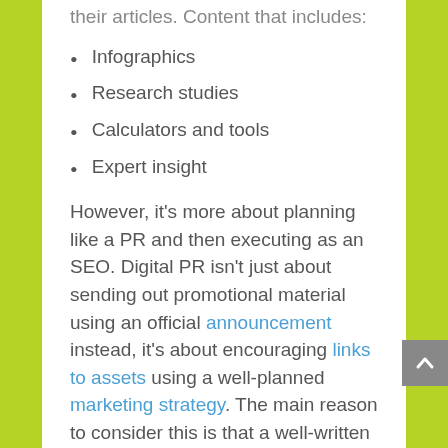their articles. Content that includes:
Infographics
Research studies
Calculators and tools
Expert insight
However, it's more about planning like a PR and then executing as an SEO. Digital PR isn't just about sending out promotional material using an official announcement instead, it's about encouraging links to assets using a well-planned marketing strategy. The main reason to consider this is that a well-written story will result in a significant number of earned editorial links from publications in which your next potential customer might be a fan of on the